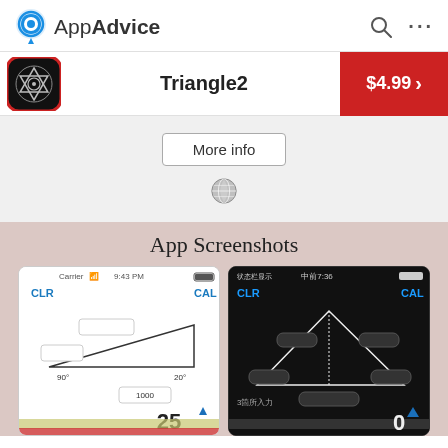AppAdvice
Triangle2  $4.99
More info
App Screenshots
[Figure (screenshot): Two iPhone screenshots of Triangle2 app showing triangle calculation interface — one with white background and one with black background]
25   0